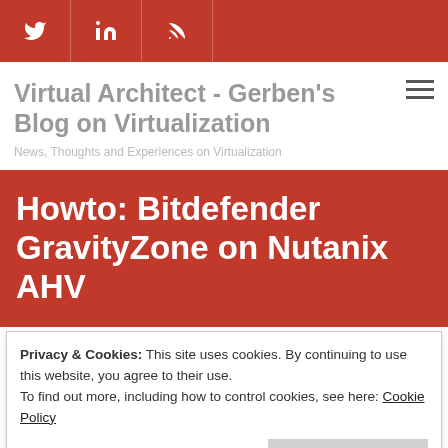Social icons bar: Twitter, LinkedIn, RSS
Virtual Architect - Gerben's Blog on Virtualization
News, Thoughts and Experiences on Virtualization
Howto: Bitdefender GravityZone on Nutanix AHV
Privacy & Cookies: This site uses cookies. By continuing to use this website, you agree to their use.
To find out more, including how to control cookies, see here: Cookie Policy
Close and accept
This is a quick howto for running the Bitdefender GravityZone...